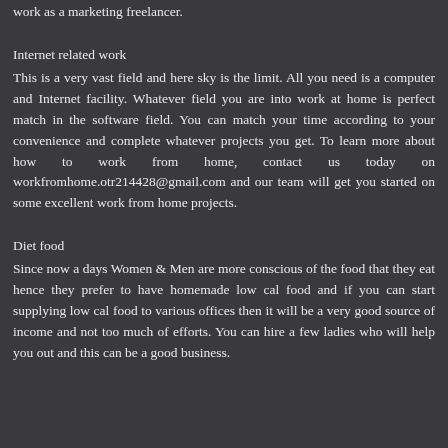work as a marketing freelancer.
Internet related work
This is a very vast field and here sky is the limit. All you need is a computer and Internet facility. Whatever field you are into work at home is perfect match in the software field. You can match your time according to your convenience and complete whatever projects you get. To learn more about how to work from home, contact us today on workfromhome.otr214428@gmail.com and our team will get you started on some excellent work from home projects.
Diet food
Since now a days Women & Men are more conscious of the food that they eat hence they prefer to have homemade low cal food and if you can start supplying low cal food to various offices then it will be a very good source of income and not too much of efforts. You can hire a few ladies who will help you out and this can be a good business.